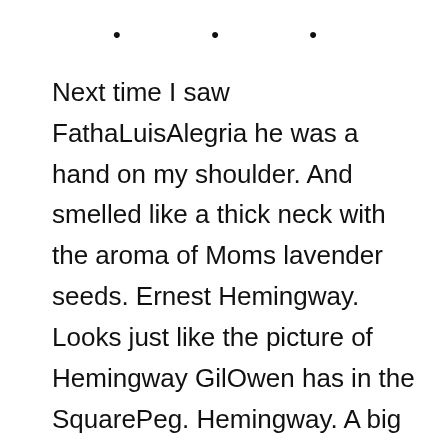• • •
Next time I saw FathaLuisAlegria he was a hand on my shoulder. And smelled like a thick neck with the aroma of Moms lavender seeds. Ernest Hemingway. Looks just like the picture of Hemingway GilOwen has in the SquarePeg. Hemingway. A big guy. Cool combed back hair. And a mustache that says Im a man and dont you forget it.
FathaLuis shook my hand. His fat fingers. Gripping my shoulder. Then he pulled me into his stomach. My face into his belly. And he